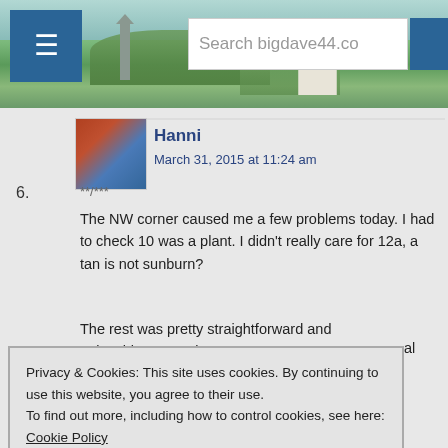[Figure (screenshot): Website header banner with landscape photo, hamburger menu button, and search box reading 'Search bigdave44.co']
6.
[Figure (photo): Avatar image for user Hanni, showing the Angel of the North sculpture in reddish tones]
Hanni
March 31, 2015 at 11:24 am
**/***
The NW corner caused me a few problems today. I had to check 10 was a plant. I didn't really care for 12a, a tan is not sunburn?
The rest was pretty straightforward and enjoyable. Favourite
al
Privacy & Cookies: This site uses cookies. By continuing to use this website, you agree to their use.
To find out more, including how to control cookies, see here: Cookie Policy
Close and accept
7.
[Figure (photo): Dark avatar image for user Brian]
Brian
March 31, 2015 at 11:51 am